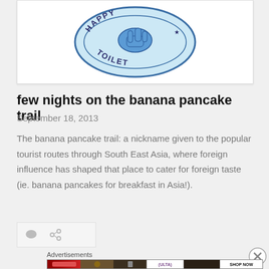[Figure (illustration): Partial illustration of a 'Happy Toilet' badge/logo — a circular blue-tinted badge with the text 'HAPPY TOILET' around it and a blue hand/design element, shown cropped at top of page]
few nights on the banana pancake trail
September 18, 2013
The banana pancake trail: a nickname given to the popular tourist routes through South East Asia, where foreign influence has shaped that place to cater for foreign taste (ie. banana pancakes for breakfast in Asia!).
[Figure (other): Icons bar with comment bubble icon and share/link icon]
Advertisements
[Figure (other): ULTA beauty advertisement banner showing makeup imagery — lips, brush, eyes, ULTA logo, more eyes, with SHOP NOW call to action]